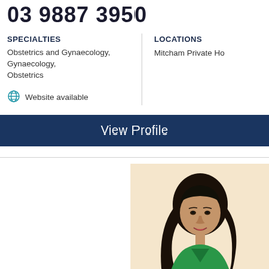03 9887 3950
SPECIALTIES
Obstetrics and Gynaecology, Gynaecology, Obstetrics
Website available
LOCATIONS
Mitcham Private Ho
View Profile
[Figure (photo): Portrait photo of a female doctor with long black hair, wearing a green sleeveless dress, smiling, against a light beige background.]